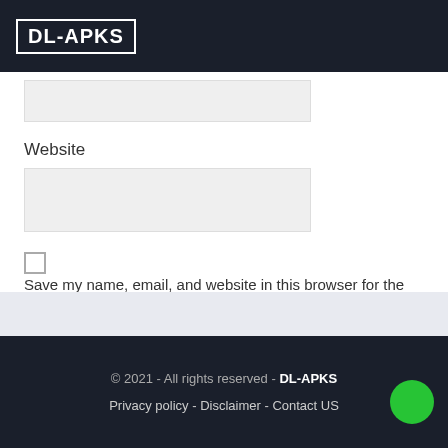DL-APKS
[Figure (other): Gray input field (top, partially visible)]
Website
[Figure (other): Gray input field for website URL]
Save my name, email, and website in this browser for the next time I comment.
Post Comment
© 2021 - All rights reserved - DL-APKS  Privacy policy - Disclaimer - Contact US